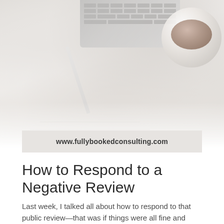[Figure (photo): Top portion of a lifestyle/blog header image showing a laptop keyboard (top center), a white coffee cup with brown liquid (top right), a pen or pencil (lower center-left), and papers on a light wood surface. The image fades to white toward the bottom.]
www.fullybookedconsulting.com
How to Respond to a Negative Review
Last week, I talked all about how to respond to that public review—that was if things were all fine and wonderful and they had all nice things to say. But what happens when someone leaves a negative review? How do you handle that? Today's blog post and video is